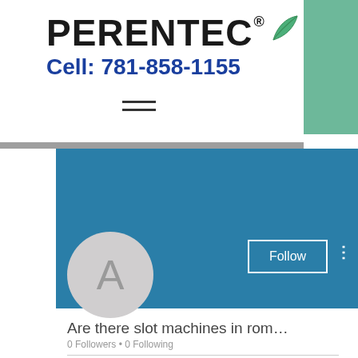[Figure (logo): PERENTEC logo with green leaf and registered trademark symbol]
Cell: 781-858-1155
[Figure (other): Hamburger menu icon (three horizontal lines)]
[Figure (screenshot): Social media profile screenshot with blue banner, avatar circle with letter A, Follow button, and three-dot menu]
Are there slot machines in rom...
0 Followers • 0 Following
Profile